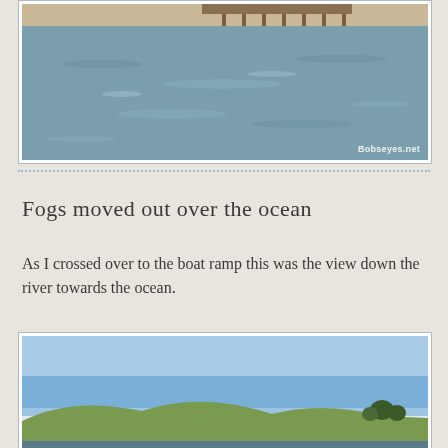[Figure (photo): View of a river or estuary with calm water reflecting light, wooden pier/dock structures visible in the background on the far shore, with sandy beach. Watermark reads 'Bobseyes.net' in lower right.]
Fogs moved out over the ocean
As I crossed over to the boat ramp this was the view down the river towards the ocean.
[Figure (photo): View down the river towards the ocean with clear blue sky, rolling green hills with trees visible on the right side, and open water in the foreground.]